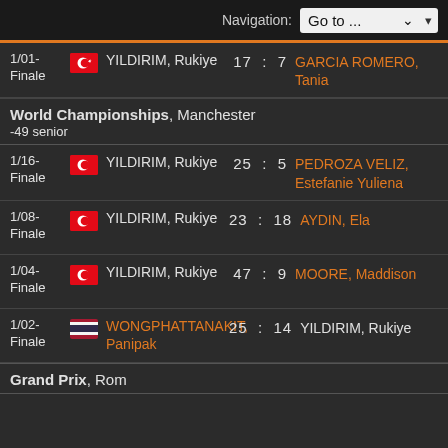Navigation: Go to ...
| Round | Flag | Player | Score | Opponent |
| --- | --- | --- | --- | --- |
| 1/01-Finale | TUR | YILDIRIM, Rukiye | 17 : 7 | GARCIA ROMERO, Tania |
World Championships, Manchester -49 senior
| Round | Flag | Player | Score | Opponent |
| --- | --- | --- | --- | --- |
| 1/16-Finale | TUR | YILDIRIM, Rukiye | 25 : 5 | PEDROZA VELIZ, Estefanie Yuliena |
| 1/08-Finale | TUR | YILDIRIM, Rukiye | 23 : 18 | AYDIN, Ela |
| 1/04-Finale | TUR | YILDIRIM, Rukiye | 47 : 9 | MOORE, Maddison |
| 1/02-Finale | THA | WONGPHATTANAKIT, Panipak | 25 : 14 | YILDIRIM, Rukiye |
Grand Prix, Rom